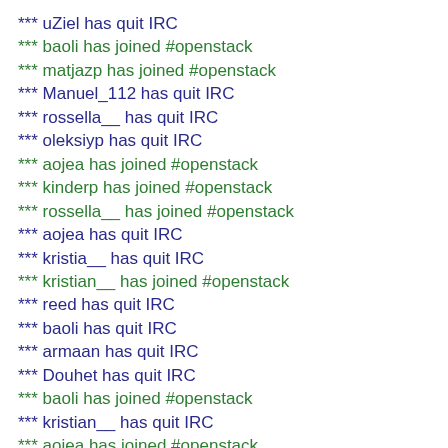*** uZiel has quit IRC
*** baoli has joined #openstack
*** matjazp has joined #openstack
*** Manuel_112 has quit IRC
*** rossella__ has quit IRC
*** oleksiyp has quit IRC
*** aojea has joined #openstack
*** kinderp has joined #openstack
*** rossella__ has joined #openstack
*** aojea has quit IRC
*** kristia__ has quit IRC
*** kristian__ has joined #openstack
*** reed has quit IRC
*** baoli has quit IRC
*** armaan has quit IRC
*** Douhet has quit IRC
*** baoli has joined #openstack
*** kristian__ has quit IRC
*** aojea has joined #openstack
*** Douhet has joined #openstack
*** penick has joined #openstack
*** fragatina has joined #openstack